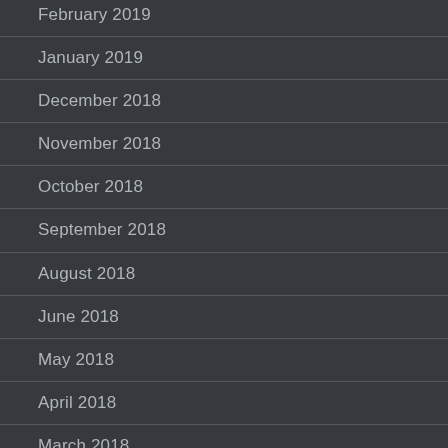February 2019
January 2019
December 2018
November 2018
October 2018
September 2018
August 2018
June 2018
May 2018
April 2018
March 2018
February 2018